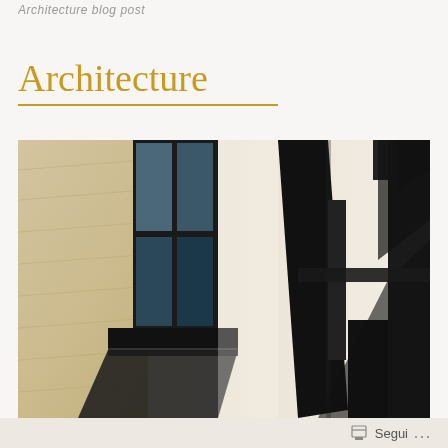Architecture blog post header
Architecture
[Figure (photo): Close-up architectural photo of a modern building facade showing windows with dark frames and shutters/shading elements casting dramatic shadows on a light-colored concrete or stone wall, shot from a low angle looking upward]
Segui ...